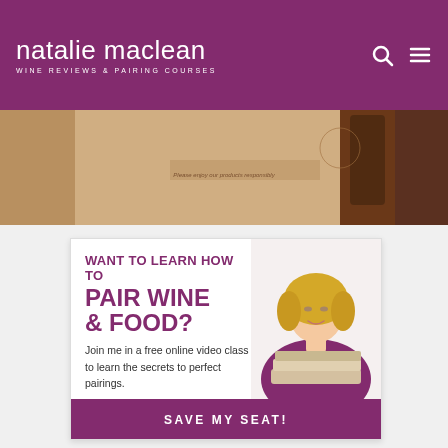natalie maclean — WINE REVIEWS & PAIRING COURSES
[Figure (photo): Cropped wine bottle and packaging image strip in warm tan/brown tones with text 'Please enjoy our products responsibly']
[Figure (infographic): Advertisement card: WANT TO LEARN HOW TO PAIR WINE & FOOD? Join me in a free online video class to learn the secrets to perfect pairings. SAVE MY SEAT! with photo of blonde woman in purple top leaning on books.]